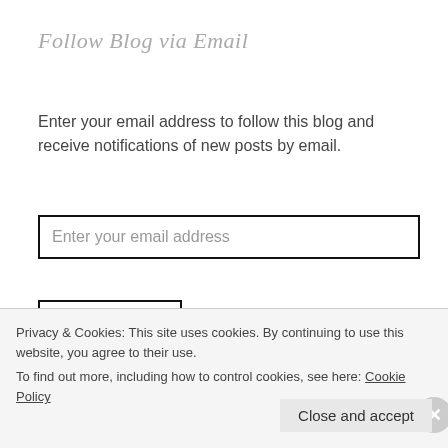Follow Blog via Email
Enter your email address to follow this blog and receive notifications of new posts by email.
[Figure (screenshot): Email address input field with placeholder text 'Enter your email address', bordered with thick black outline]
[Figure (screenshot): Follow button with orange-red text 'Follow' inside a thick black border box]
[Figure (screenshot): Search input box with placeholder text 'Search', bordered with thick black outline]
Privacy & Cookies: This site uses cookies. By continuing to use this website, you agree to their use.
To find out more, including how to control cookies, see here: Cookie Policy
Close and accept